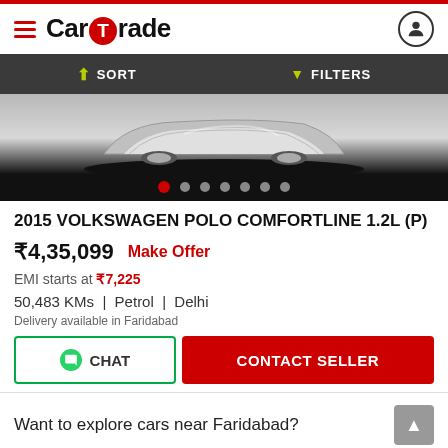CarTrade
SORT   FILTERS
[Figure (photo): Car image showing front/hood of Volkswagen Polo, grey metallic, with carousel dots below]
2015 VOLKSWAGEN POLO COMFORTLINE 1.2L (P)
₹4,35,099   Make Offer
EMI starts at ₹7,225
50,483 KMs  |  Petrol  |  Delhi
Delivery available in Faridabad
CHAT   CONTACT SELLER
Want to explore cars near Faridabad?
Gurgaon
Kurukshetra
Karnal